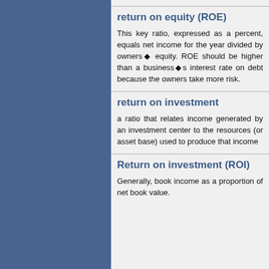return on equity (ROE)
This key ratio, expressed as a percent, equals net income for the year divided by owners’ equity. ROE should be higher than a business’s interest rate on debt because the owners take more risk.
return on investment
a ratio that relates income generated by an investment center to the resources (or asset base) used to produce that income
Return on investment (ROI)
Generally, book income as a proportion of net book value.